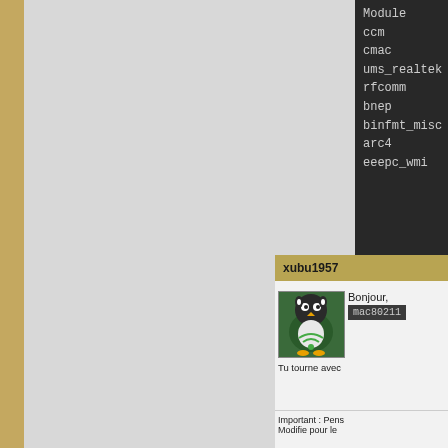| Module |
| --- |
| ccm |
| cmac |
| ums_realtek |
| rfcomm |
| bnep |
| binfmt_misc |
| arc4 |
| eeepc_wmi |
Débuter · Doc ·
xubu1957
[Figure (illustration): Linux/Tux penguin avatar with green wireless symbol]
Bonjour,
mac80211
Tu tourne avec
Important : Pens
Modifie pour le